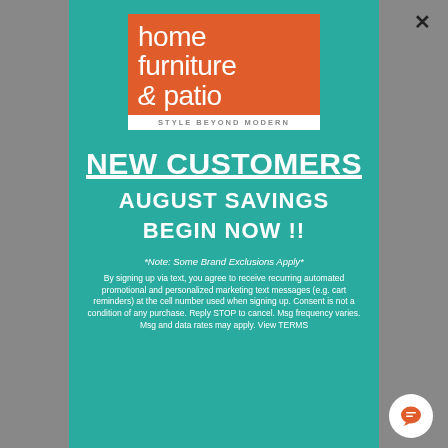[Figure (logo): Home Furniture & Patio logo - orange square with white text 'home furniture & patio' and white tagline bar 'STYLE BEYOND MODERN']
NEW CUSTOMERS
AUGUST SAVINGS
BEGIN NOW !!
*Note: Some Brand Exclusions Apply*
By signing up via text, you agree to receive recurring automated promotional and personalized marketing text messages (e.g. cart reminders) at the cell number used when signing up. Consent is not a condition of any purchase. Reply STOP to cancel. Msg frequency varies. Msg and data rates may apply. View TERMS